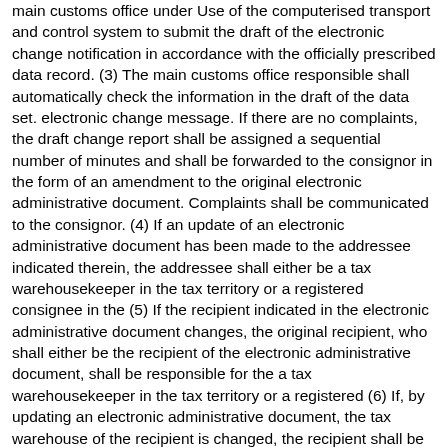main customs office under Use of the computerised transport and control system to submit the draft of the electronic change notification in accordance with the officially prescribed data record. (3) The main customs office responsible shall automatically check the information in the draft of the data set. electronic change message. If there are no complaints, the draft change report shall be assigned a sequential number of minutes and shall be forwarded to the consignor in the form of an amendment to the original electronic administrative document. Complaints shall be communicated to the consignor. (4) If an update of an electronic administrative document has been made to the addressee indicated therein, the addressee shall either be a tax warehousekeeper in the tax territory or a registered consignee in the (5) If the recipient indicated in the electronic administrative document changes, the original recipient, who shall either be the recipient of the electronic administrative document, shall be responsible for the a tax warehousekeeper in the tax territory or a registered (6) If, by updating an electronic administrative document, the tax warehouse of the recipient is changed, the recipient shall be informed of the need for a notification of the tax. the main customs office responsible for the beneficiary shall forward the notification to the addressee. Unofficial table of contents